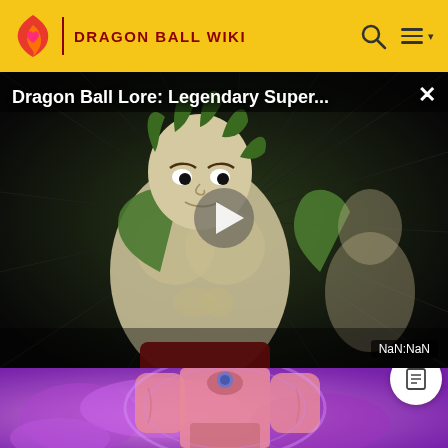DRAGON BALL WIKI
[Figure (screenshot): Dragon Ball Wiki video player showing 'Dragon Ball Lore: Legendary Super...' with anime character Broly in action pose, dark background with speed lines, play button in center, close (x) button top right, NaN:NaN duration badge bottom right]
[Figure (screenshot): Bottom portion showing a Dragon Ball character (android/fighter) with purple energy aura on pinkish background, list/article icon button on right side]